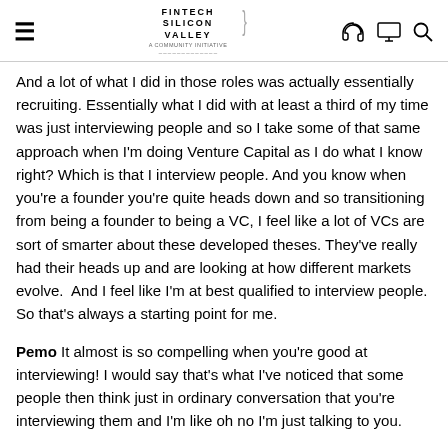FINTECH SILICON VALLEY
And a lot of what I did in those roles was actually essentially recruiting. Essentially what I did with at least a third of my time was just interviewing people and so I take some of that same approach when I'm doing Venture Capital as I do what I know right? Which is that I interview people. And you know when you're a founder you're quite heads down and so transitioning from being a founder to being a VC, I feel like a lot of VCs are sort of smarter about these developed theses. They've really had their heads up and are looking at how different markets evolve.  And I feel like I'm at best qualified to interview people. So that's always a starting point for me.
Pemo It almost is so compelling when you're good at interviewing! I would say that's what I've noticed that some people then think just in ordinary conversation that you're interviewing them and I'm like oh no I'm just talking to you.
Minnie Right? right? No, I mean I've learned a lot about interviewing and you know idle questions I mean and getting